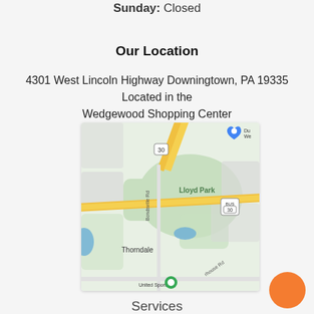Sunday: Closed
Our Location
4301 West Lincoln Highway Downingtown, PA 19335 Located in the Wedgewood Shopping Center
[Figure (map): Google Maps showing area around 4301 West Lincoln Highway, Downingtown PA 19335, with Lloyd Park, Thorndale, Bondsville Rd, United Sports, and route 30 visible.]
Services